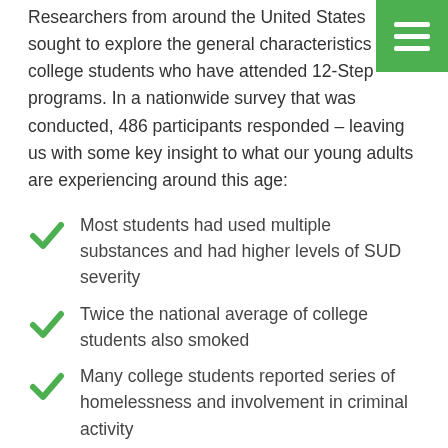Researchers from around the United States sought to explore the general characteristics of college students who have attended 12-Step programs. In a nationwide survey that was conducted, 486 participants responded – leaving us with some key insight to what our young adults are experiencing around this age:
Most students had used multiple substances and had higher levels of SUD severity
Twice the national average of college students also smoked
Many college students reported series of homelessness and involvement in criminal activity
Co-occurring disorders seem to be a major concern for young adults, and the severity only continues to worsen the longer they avoid seeking help. The best